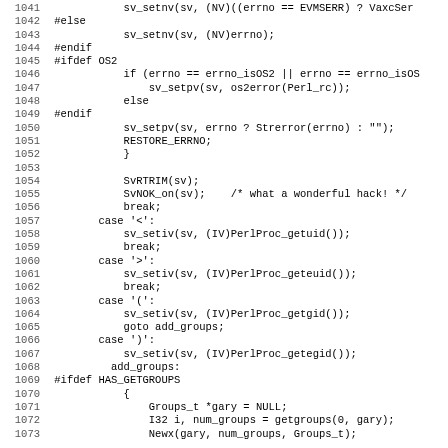Code listing lines 1041-1073 in C/Perl source code